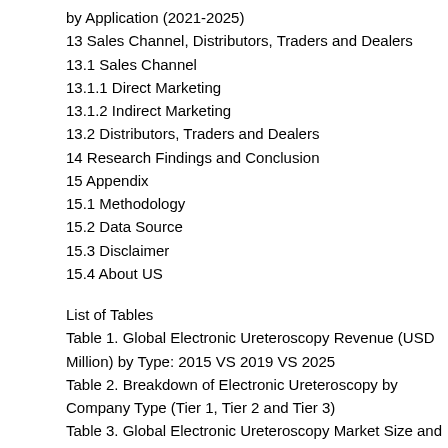by Application (2021-2025)
13 Sales Channel, Distributors, Traders and Dealers
13.1 Sales Channel
13.1.1 Direct Marketing
13.1.2 Indirect Marketing
13.2 Distributors, Traders and Dealers
14 Research Findings and Conclusion
15 Appendix
15.1 Methodology
15.2 Data Source
15.3 Disclaimer
15.4 About US
List of Tables
Table 1. Global Electronic Ureteroscopy Revenue (USD Million) by Type: 2015 VS 2019 VS 2025
Table 2. Breakdown of Electronic Ureteroscopy by Company Type (Tier 1, Tier 2 and Tier 3)
Table 3. Global Electronic Ureteroscopy Market Size and Growth Estimation in Various Scenarios in 2020